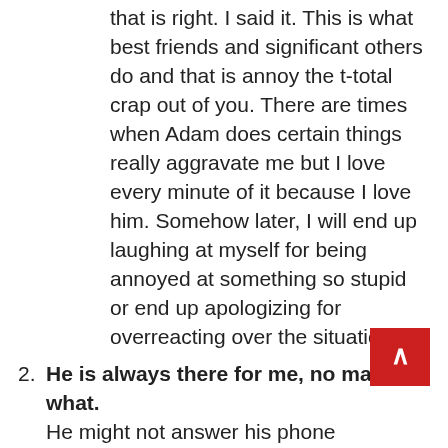that is right. I said it. This is what best friends and significant others do and that is annoy the t-total crap out of you. There are times when Adam does certain things really aggravate me but I love every minute of it because I love him. Somehow later, I will end up laughing at myself for being annoyed at something so stupid or end up apologizing for overreacting over the situation.
2. He is always there for me, no matter what. He might not answer his phone sometimes because he is playing his video games and his phone is on silent, but he is always there for me. There is no doubt in my mind that he would drive three hours one day to the beach to make me feel better and get away for a relaxing time at my favorite place. Want to